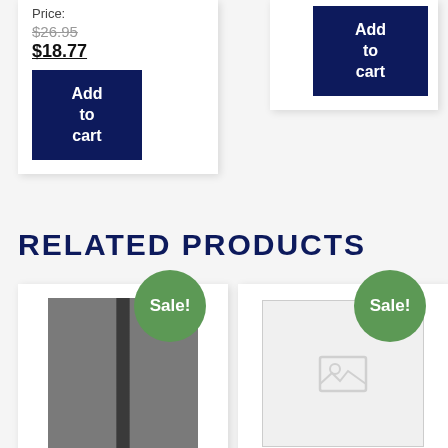Price:
$26.95 (strikethrough) $18.77
Add to cart
Add to cart
RELATED PRODUCTS
Sale!
[Figure (photo): Partial product photo showing grey/metal surface of Oreck upper part]
ORECK UPPER
Sale!
[Figure (photo): Placeholder image for Hoover Vacuum Gasket-Brushroll product]
HOOVER VACUUM GASKET-BRUSHROLL